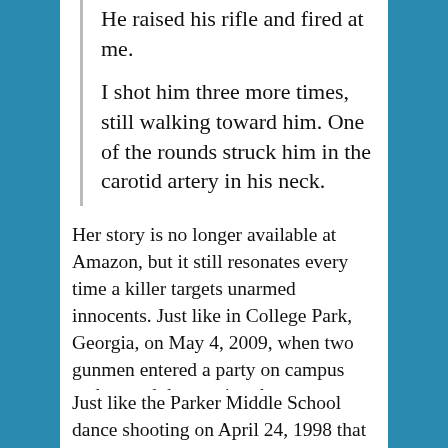He raised his rifle and fired at me.

I shot him three more times, still walking toward him. One of the rounds struck him in the carotid artery in his neck.
Her story is no longer available at Amazon, but it still resonates every time a killer targets unarmed innocents. Just like in College Park, Georgia, on May 4, 2009, when two gunmen entered a party on campus and started threatening the partygoers. One of them who had access to a handgun shot one of them to death and drove off the other one.
Just like the Parker Middle School dance shooting on April 24, 1998 that was ended by...